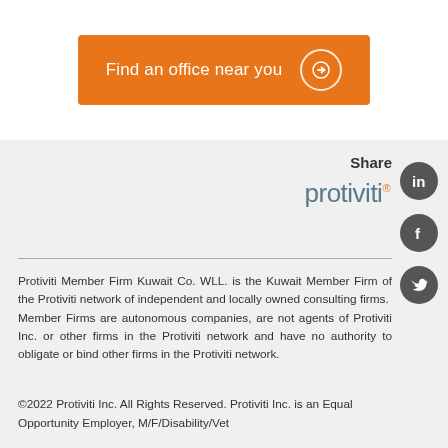[Figure (other): Orange button with text 'Find an office near you' and a circular arrow icon]
Share
[Figure (logo): Protiviti logo in grey with orange registered trademark dot]
[Figure (other): LinkedIn, Facebook, and Twitter social media icons (grey circles)]
Protiviti Member Firm Kuwait Co. WLL. is the Kuwait Member Firm of the Protiviti network of independent and locally owned consulting firms.  Member Firms are autonomous companies, are not agents of Protiviti Inc. or other firms in the Protiviti network and have no authority to obligate or bind other firms in the Protiviti network.
©2022 Protiviti Inc. All Rights Reserved. Protiviti Inc. is an Equal Opportunity Employer, M/F/Disability/Vet